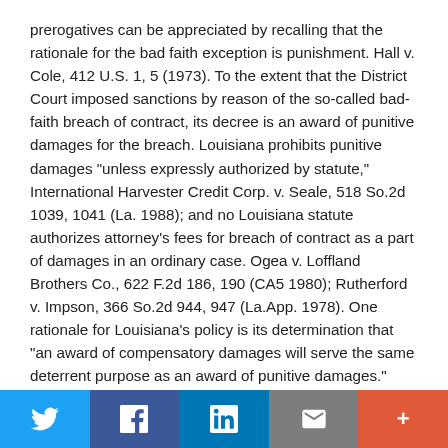prerogatives can be appreciated by recalling that the rationale for the bad faith exception is punishment. Hall v. Cole, 412 U.S. 1, 5 (1973). To the extent that the District Court imposed sanctions by reason of the so-called bad-faith breach of contract, its decree is an award of punitive damages for the breach. Louisiana prohibits punitive damages "unless expressly authorized by statute," International Harvester Credit Corp. v. Seale, 518 So.2d 1039, 1041 (La. 1988); and no Louisiana statute authorizes attorney's fees for breach of contract as a part of damages in an ordinary case. Ogea v. Loffland Brothers Co., 622 F.2d 186, 190 (CA5 1980); Rutherford v. Impson, 366 So.2d 944, 947 (La.App. 1978). One rationale for Louisiana's policy is its determination that "an award of compensatory damages will serve the same deterrent purpose as an award of punitive damages." Ricard v. State, 390 So.2d 882, 886 (La. 1980). If
Twitter | Facebook | LinkedIn | Email | More